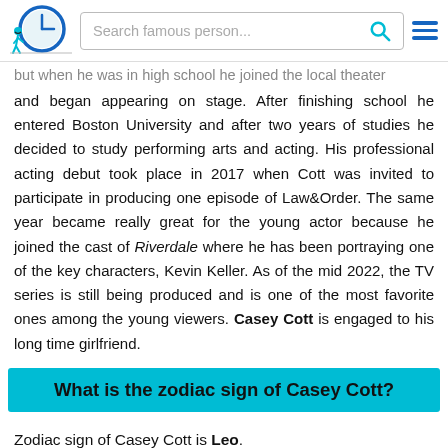Search famous person...
but when he was in high school he joined the local theater and began appearing on stage. After finishing school he entered Boston University and after two years of studies he decided to study performing arts and acting. His professional acting debut took place in 2017 when Cott was invited to participate in producing one episode of Law&Order. The same year became really great for the young actor because he joined the cast of Riverdale where he has been portraying one of the key characters, Kevin Keller. As of the mid 2022, the TV series is still being produced and is one of the most favorite ones among the young viewers. Casey Cott is engaged to his long time girlfriend.
What is the zodiac sign of Casey Cott?
Zodiac sign of Casey Cott is Leo.